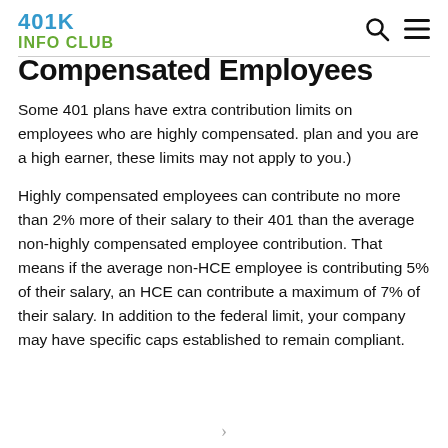401K INFO CLUB
Compensated Employees
Some 401 plans have extra contribution limits on employees who are highly compensated. plan and you are a high earner, these limits may not apply to you.)
Highly compensated employees can contribute no more than 2% more of their salary to their 401 than the average non-highly compensated employee contribution. That means if the average non-HCE employee is contributing 5% of their salary, an HCE can contribute a maximum of 7% of their salary. In addition to the federal limit, your company may have specific caps established to remain compliant.